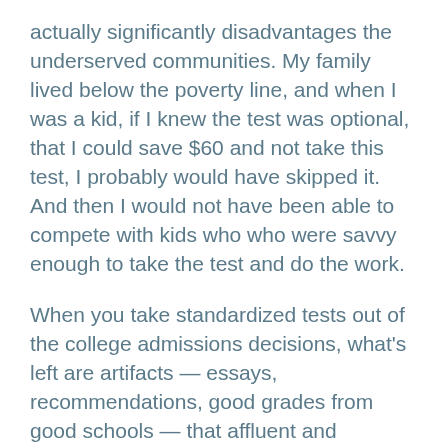actually significantly disadvantages the underserved communities. My family lived below the poverty line, and when I was a kid, if I knew the test was optional, that I could save $60 and not take this test, I probably would have skipped it. And then I would not have been able to compete with kids who who were savvy enough to take the test and do the work.
When you take standardized tests out of the college admissions decisions, what's left are artifacts — essays, recommendations, good grades from good schools — that affluent and educated families can gain much, much better. So for those reasons, I think the SAT is still very relevant.